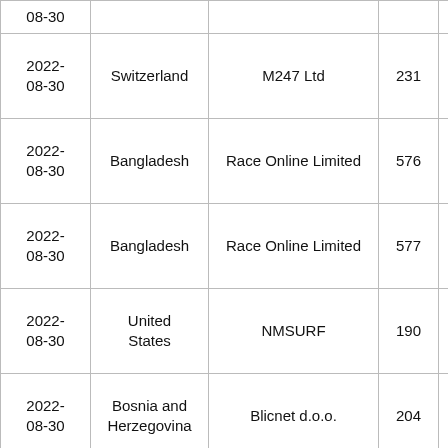| Date | Country | Organization | ASN |  |
| --- | --- | --- | --- | --- |
| 2022-08-30 |  |  |  |  |
| 2022-08-30 | Switzerland | M247 Ltd | 231 |  |
| 2022-08-30 | Bangladesh | Race Online Limited | 576 |  |
| 2022-08-30 | Bangladesh | Race Online Limited | 577 |  |
| 2022-08-30 | United States | NMSURF | 190 |  |
| 2022-08-30 | Bosnia and Herzegovina | Blicnet d.o.o. | 204 |  |
| 2022-08-30 | Taiwan | Taiwan Infrastructure Network Technologie | 413 |  |
|  |  |  |  |  |